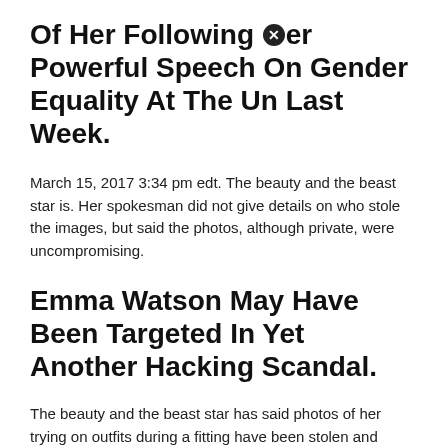Of Her Following Her Powerful Speech On Gender Equality At The Un Last Week.
March 15, 2017 3:34 pm edt. The beauty and the beast star is. Her spokesman did not give details on who stole the images, but said the photos, although private, were uncompromising.
Emma Watson May Have Been Targeted In Yet Another Hacking Scandal.
The beauty and the beast star has said photos of her trying on outfits during a fitting have been stolen and shared online. The actress was speaking as she urged more men and boys to take a stand for women's rights and be proud to be feminists.